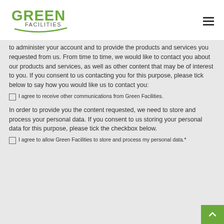[Figure (logo): Green Facilities logo with green text and swoosh underline]
to administer your account and to provide the products and services you requested from us. From time to time, we would like to contact you about our products and services, as well as other content that may be of interest to you. If you consent to us contacting you for this purpose, please tick below to say how you would like us to contact you:
I agree to receive other communications from Green Facilities.
In order to provide you the content requested, we need to store and process your personal data. If you consent to us storing your personal data for this purpose, please tick the checkbox below.
I agree to allow Green Facilities to store and process my personal data.*